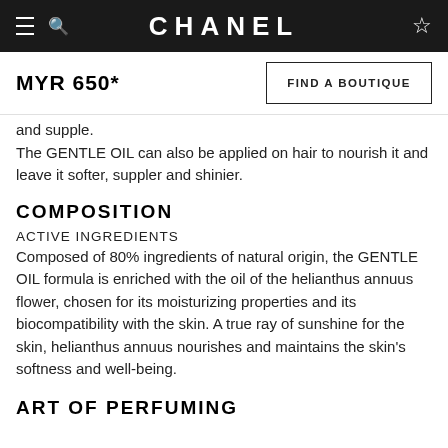CHANEL
MYR 650*
FIND A BOUTIQUE
and supple.
The GENTLE OIL can also be applied on hair to nourish it and leave it softer, suppler and shinier.
COMPOSITION
ACTIVE INGREDIENTS
Composed of 80% ingredients of natural origin, the GENTLE OIL formula is enriched with the oil of the helianthus annuus flower, chosen for its moisturizing properties and its biocompatibility with the skin. A true ray of sunshine for the skin, helianthus annuus nourishes and maintains the skin's softness and well-being.
ART OF PERFUMING